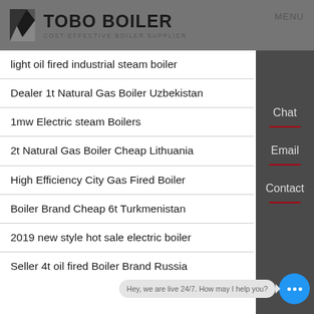TOBO BOILER — COST-EFFECTIVE BOILER SUPPLIER | MENU
light oil fired industrial steam boiler
Dealer 1t Natural Gas Boiler Uzbekistan
1mw Electric steam Boilers
2t Natural Gas Boiler Cheap Lithuania
High Efficiency City Gas Fired Boiler
Boiler Brand Cheap 6t Turkmenistan
2019 new style hot sale electric boiler
Seller 4t oil fired Boiler Brand Russia
Hey, we are live 24/7. How may I help you?